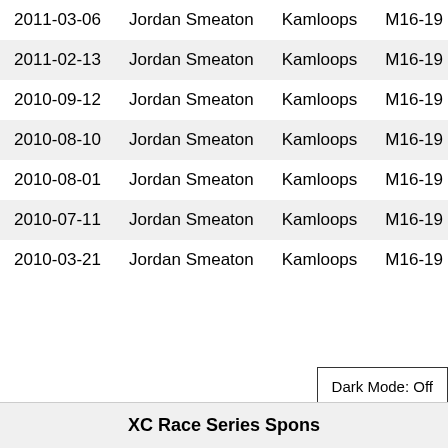| Date | Name | Location | Category | Race |
| --- | --- | --- | --- | --- |
| 2011-03-06 | Jordan Smeaton | Kamloops | M16-19 | Lakes… |
| 2011-02-13 | Jordan Smeaton | Kamloops | M16-19 | Starti… |
| 2010-09-12 | Jordan Smeaton | Kamloops | M16-19 | Bike R… |
| 2010-08-10 | Jordan Smeaton | Kamloops | M16-19 | Raven… |
| 2010-08-01 | Jordan Smeaton | Kamloops | M16-19 | Willis… |
| 2010-07-11 | Jordan Smeaton | Kamloops | M16-19 | Midsu… |
| 2010-03-21 | Jordan Smeaton | Kamloops | M16-19 | Sprin… |
XC Race Series Spons…
Dark Mode: Off